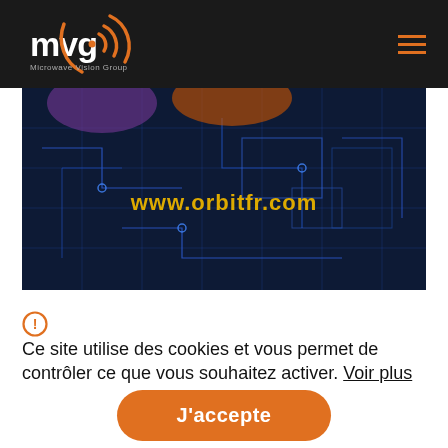[Figure (logo): MVG Microwave Vision Group orange logo with circular wave graphic on dark navbar]
[Figure (screenshot): Website screenshot showing dark blue glowing circuit/antenna image with yellow text www.orbitfr.com overlaid]
Ce site utilise des cookies et vous permet de contrôler ce que vous souhaitez activer. Voir plus
J'accepte